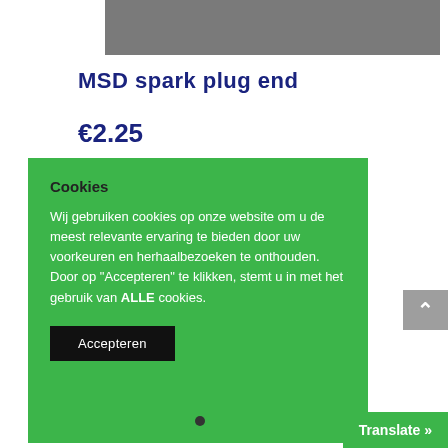[Figure (photo): Gray image/photo area at top of page]
MSD spark plug end
€2.25
Cookies
Wij gebruiken cookies op onze website om u de meest relevante ervaring te bieden door uw voorkeuren en herhaalbezoeken te onthouden. Door op "Accepteren" te klikken, stemt u in met het gebruik van ALLE cookies.
Accepteren
Translate »